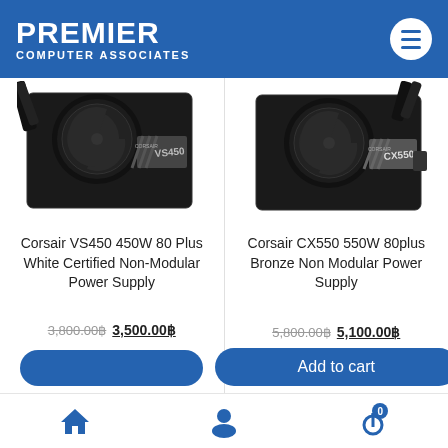PREMIER COMPUTER ASSOCIATES
[Figure (photo): Corsair VS450 power supply unit, black, with VS450 label]
Corsair VS450 450W 80 Plus White Certified Non-Modular Power Supply
3,800.00฿  3,500.00฿
[Figure (photo): Corsair CX550 power supply unit, black, with CX550 label]
Corsair CX550 550W 80plus Bronze Non Modular Power Supply
5,800.00฿  5,100.00฿
Add to cart
Home | User | Cart (0)